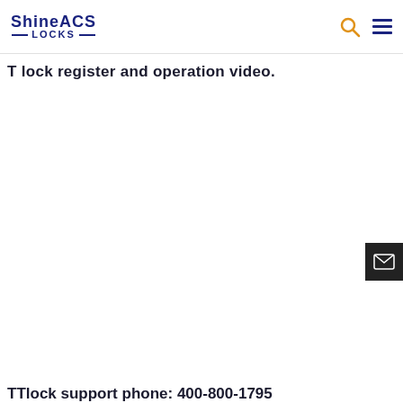[Figure (logo): ShineACS LOCKS logo with navigation icons (search and hamburger menu)]
T lock register and operation video.
[Figure (other): Email contact button (envelope icon on dark background)]
TTlock support phone: 400-800-1795